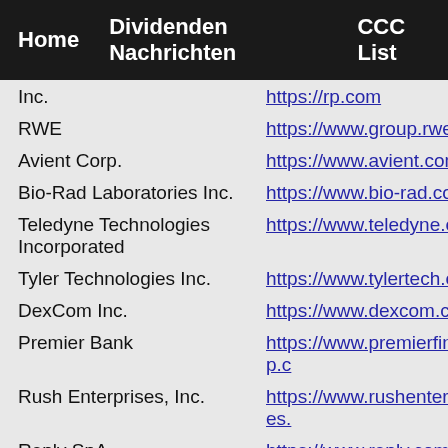Home   Dividenden Nachrichten   CCC List
| Company | URL |
| --- | --- |
| Inc. | https://rp.com |
| RWE | https://www.group.rwe/en |
| Avient Corp. | https://www.avient.com |
| Bio-Rad Laboratories Inc. | https://www.bio-rad.com |
| Teledyne Technologies Incorporated | https://www.teledyne.com |
| Tyler Technologies Inc. | https://www.tylertech.com |
| DexCom Inc. | https://www.dexcom.com |
| Premier Bank | https://www.premierfincorp.com |
| Rush Enterprises, Inc. | https://www.rushenterprises.com |
| Reply SpA | https://www.reply.com/en/ |
| Siemens Energy | https://www.siemens-energy.com |
| Etsy Inc. | https://www.etsy.com |
| Catalent Inc. | https://www.catalent.com |